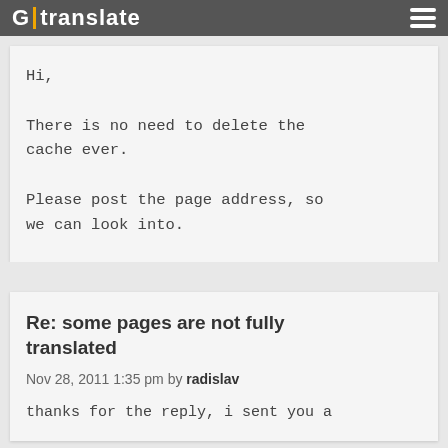G | translate
Hi,

There is no need to delete the cache ever.

Please post the page address, so we can look into.
Re: some pages are not fully translated
Nov 28, 2011 1:35 pm by radislav
thanks for the reply, i sent you a